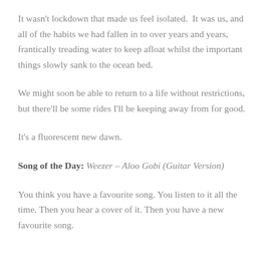It wasn't lockdown that made us feel isolated.  It was us, and all of the habits we had fallen in to over years and years, frantically treading water to keep afloat whilst the important things slowly sank to the ocean bed.
We might soon be able to return to a life without restrictions, but there'll be some rides I'll be keeping away from for good.
It's a fluorescent new dawn.
Song of the Day: Weezer – Aloo Gobi (Guitar Version)
You think you have a favourite song. You listen to it all the time. Then you hear a cover of it. Then you have a new favourite song.